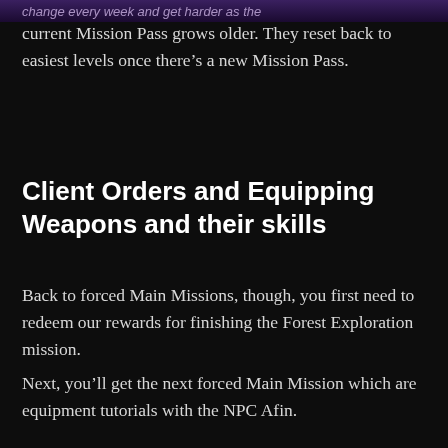change every week and get harder as the
current Mission Pass grows older. They reset back to easiest levels once there’s a new Mission Pass.
Client Orders and Equipping Weapons and their skills
Back to forced Main Missions, though, you first need to redeem our rewards for finishing the Forest Exploration mission.
Next, you’ll get the next forced Main Mission which are equipment tutorials with the NPC Afin.